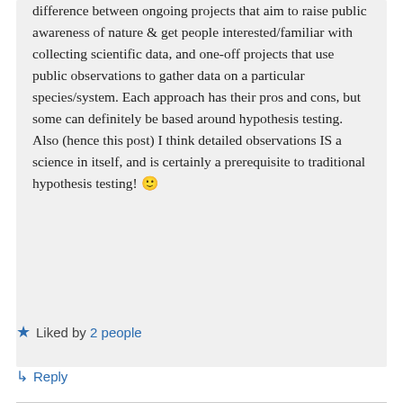difference between ongoing projects that aim to raise public awareness of nature & get people interested/familiar with collecting scientific data, and one-off projects that use public observations to gather data on a particular species/system. Each approach has their pros and cons, but some can definitely be based around hypothesis testing. Also (hence this post) I think detailed observations IS a science in itself, and is certainly a prerequisite to traditional hypothesis testing! 🙂
★ Liked by 2 people
↳ Reply